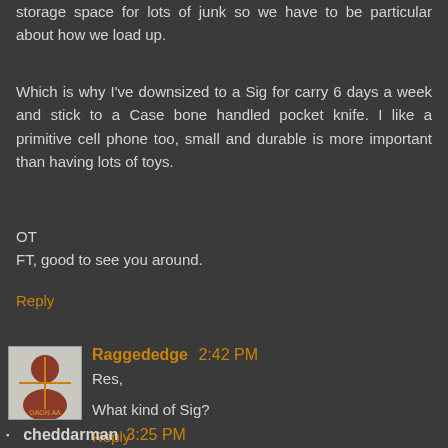storage space for lots of junk so we have to be particular about how we load up.
Which is why I've downsized to a Sig for carry 6 days a week and stick to a Case bone handled pocket knife. I like a primitive cell phone too, small and durable is more important than having lots of toys.
OT
FT, good to see you around.
Reply
Raggededge 2:42 PM
Res,
What kind of Sig?
Reply
cheddarman 3:25 PM